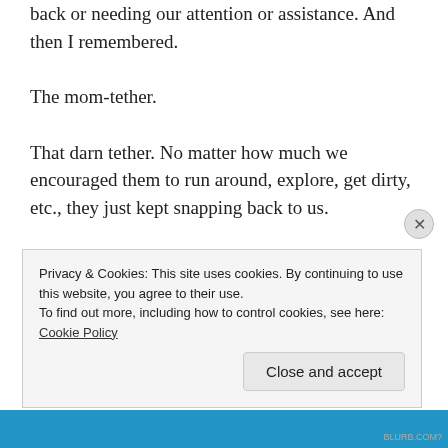back or needing our attention or assistance.  And then I remembered.
The mom-tether.
That darn tether.  No matter how much we encouraged them to run around, explore, get dirty, etc., they just kept snapping back to us.
I shouldn't be surprised.  We are great moms.  We love our children and want to keep them safe.  We try to keep them from running into traffic, ingesting toxic
Privacy & Cookies: This site uses cookies. By continuing to use this website, you agree to their use.
To find out more, including how to control cookies, see here: Cookie Policy
Close and accept